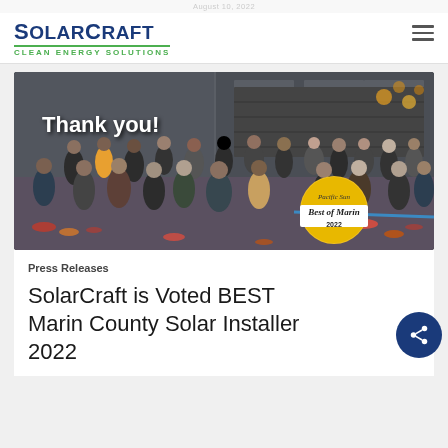August 10, 2022
[Figure (logo): SolarCraft Clean Energy Solutions logo — blue text with green underline tagline]
[Figure (photo): Group photo of SolarCraft employees standing outside their office with autumn leaves on the ground, overlaid with 'Thank you!' text and a Pacific Sun Best of Marin 2022 badge]
Press Releases
SolarCraft is Voted BEST Marin County Solar Installer 2022